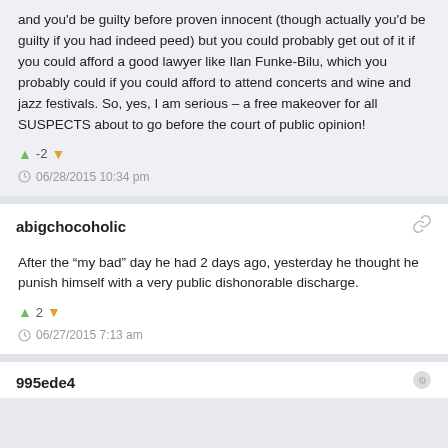and you'd be guilty before proven innocent (though actually you'd be guilty if you had indeed peed) but you could probably get out of it if you could afford a good lawyer like Ilan Funke-Bilu, which you probably could if you could afford to attend concerts and wine and jazz festivals. So, yes, I am serious – a free makeover for all SUSPECTS about to go before the court of public opinion!
▲ -2 ▼
06/28/2015 10:34 pm
abigchocoholic
After the “my bad” day he had 2 days ago, yesterday he thought he punish himself with a very public dishonorable discharge.
▲ 2 ▼
06/27/2015 7:13 am
995ede4